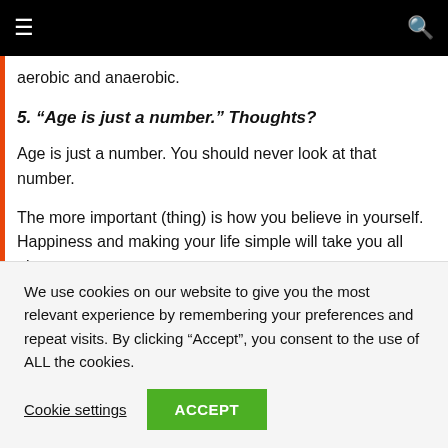≡  🔍
aerobic and anaerobic.
5. “Age is just a number.” Thoughts?
Age is just a number. You should never look at that number.
The more important (thing) is how you believe in yourself. Happiness and making your life simple will take you all along.
It doesn’t matter where you stand. Just be true to yourself. Have
We use cookies on our website to give you the most relevant experience by remembering your preferences and repeat visits. By clicking “Accept”, you consent to the use of ALL the cookies.
Cookie settings  ACCEPT